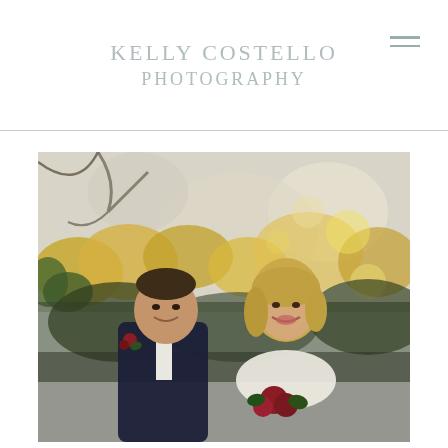KELLY COSTELLO PHOTOGRAPHY
[Figure (photo): Wedding photo of a couple outdoors with autumn foliage in the background. The groom is on the left wearing a dark navy suit with a white tie and a floral boutonniere. The bride is on the right with blonde hair, wearing white, holding a dark red floral bouquet. Both are smiling.]